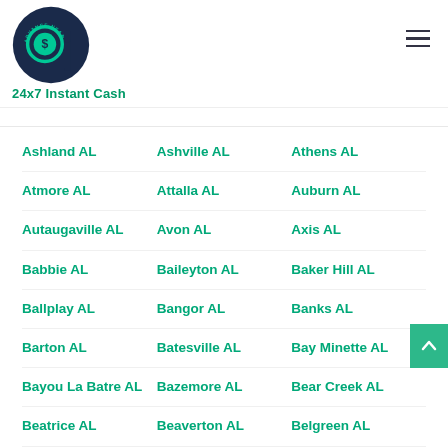24x7 Instant Cash — Advance Near Me
Ashland AL
Ashville AL
Athens AL
Atmore AL
Attalla AL
Auburn AL
Autaugaville AL
Avon AL
Axis AL
Babbie AL
Baileyton AL
Baker Hill AL
Ballplay AL
Bangor AL
Banks AL
Barton AL
Batesville AL
Bay Minette AL
Bayou La Batre AL
Bazemore AL
Bear Creek AL
Beatrice AL
Beaverton AL
Belgreen AL
Belk AL
Bellamy AL
Bellefontaine AL